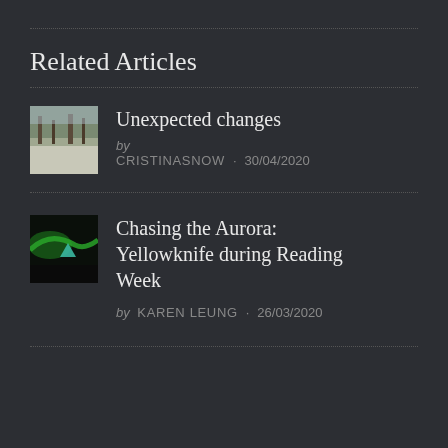Related Articles
Unexpected changes by CRISTINASNOW · 30/04/2020
Chasing the Aurora: Yellowknife during Reading Week by KAREN LEUNG · 26/03/2020